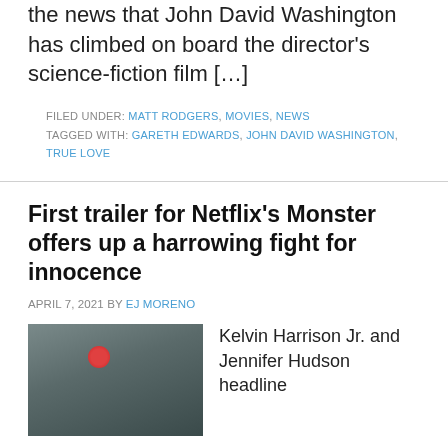the news that John David Washington has climbed on board the director's science-fiction film […]
FILED UNDER: MATT RODGERS, MOVIES, NEWS
TAGGED WITH: GARETH EDWARDS, JOHN DAVID WASHINGTON, TRUE LOVE
First trailer for Netflix's Monster offers up a harrowing fight for innocence
APRIL 7, 2021 BY EJ MORENO
[Figure (photo): A person wearing a dark cap, partially lit, with a red circular light/element visible in the blurred background.]
Kelvin Harrison Jr. and Jennifer Hudson headline